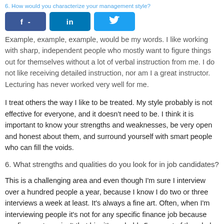6. How would you characterize your management style?
[Figure (other): Social media share buttons: Facebook (f -), LinkedIn (in), Twitter (bird icon)]
Example, example, example, would be my words. I like working with sharp, independent people who mostly want to figure things out for themselves without a lot of verbal instruction from me. I do not like receiving detailed instruction, nor am I a great instructor. Lecturing has never worked very well for me.
I treat others the way I like to be treated. My style probably is not effective for everyone, and it doesn't need to be. I think it is important to know your strengths and weaknesses, be very open and honest about them, and surround yourself with smart people who can fill the voids.
6. What strengths and qualities do you look for in job candidates?
This is a challenging area and even though I'm sure I interview over a hundred people a year, because I know I do two or three interviews a week at least. It's always a fine art. Often, when I'm interviewing people it's not for any specific finance job because our finance team isn't that big, it's probably 5 percent of the whole company. So I can't